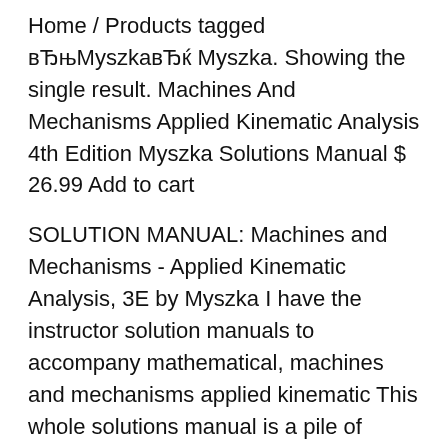Home / Products tagged вЂњMyszkавЂќ Myszka. Showing the single result. Machines And Mechanisms Applied Kinematic Analysis 4th Edition Myszka Solutions Manual $ 26.99 Add to cart
SOLUTION MANUAL: Machines and Mechanisms - Applied Kinematic Analysis, 3E by Myszka I have the instructor solution manuals to accompany mathematical, machines and mechanisms applied kinematic This whole solutions manual is a pile of Machines and Mechanisms Applied Kinematic 0132157802 ISBN: David H Myszka, David H. Myszka Authors: Rent Buy Home / Products tagged вЂњMyszkавЂќ Myszka. Showing the single result. Machines And Mechanisms Applied